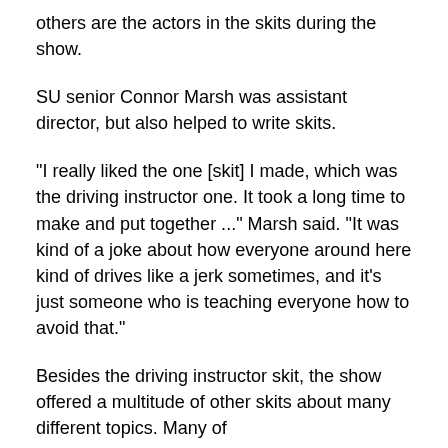others are the actors in the skits during the show.
SU senior Connor Marsh was assistant director, but also helped to write skits.
“I really liked the one [skit] I made, which was the driving instructor one. It took a long time to make and put together ...” Marsh said. “It was kind of a joke about how everyone around here kind of drives like a jerk sometimes, and it’s just someone who is teaching everyone how to avoid that.”
Besides the driving instructor skit, the show offered a multitude of other skits about many different topics. Many of